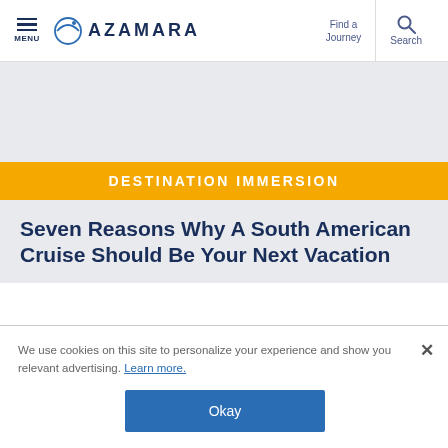MENU | AZAMARA | Find a Journey | Search
[Figure (screenshot): Gray hero image placeholder area]
DESTINATION IMMERSION
Seven Reasons Why A South American Cruise Should Be Your Next Vacation
We use cookies on this site to personalize your experience and show you relevant advertising. Learn more.
Okay